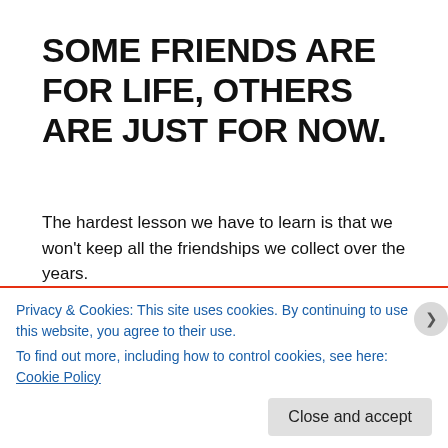SOME FRIENDS ARE FOR LIFE, OTHERS ARE JUST FOR NOW.
The hardest lesson we have to learn is that we won't keep all the friendships we collect over the years.
But that also doesn't make the friendships that fizzled out any less valuable. They may be gone, but they shouldn't be forgotten.
At one point or another, you had a common bond, a need for each other, a desire to make one another better. You
Privacy & Cookies: This site uses cookies. By continuing to use this website, you agree to their use.
To find out more, including how to control cookies, see here: Cookie Policy
Close and accept